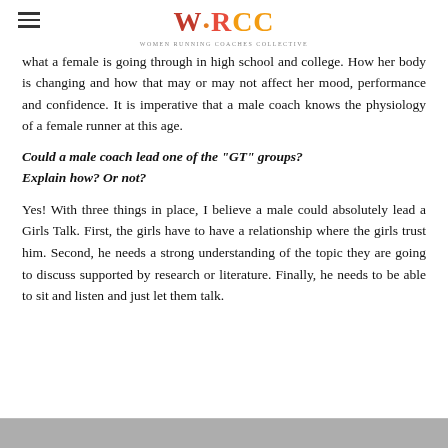WRCC - Women Running Coaches Collective
what a female is going through in high school and college. How her body is changing and how that may or may not affect her mood, performance and confidence. It is imperative that a male coach knows the physiology of a female runner at this age.
Could a male coach lead one of the “GT” groups? Explain how? Or not?
Yes! With three things in place, I believe a male could absolutely lead a Girls Talk. First, the girls have to have a relationship where the girls trust him. Second, he needs a strong understanding of the topic they are going to discuss supported by research or literature. Finally, he needs to be able to sit and listen and just let them talk.
[Figure (photo): Partial photo visible at the bottom of the page]